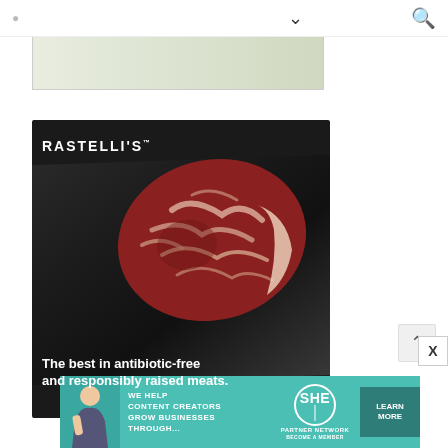∨ 🔍
[Figure (photo): Top banner advertisement strip with light green/grey gradient background]
[Figure (photo): Rastelli's advertisement showing a marbled ribeye steak on a dark cutting board with text: RASTELLI'S™ — The best in antibiotic-free and responsibly raised meats.]
[Figure (infographic): SHE Partner Network banner ad: WE HELP CONTENT CREATORS GROW BUSINESSES THROUGH... with LEARN MORE button]